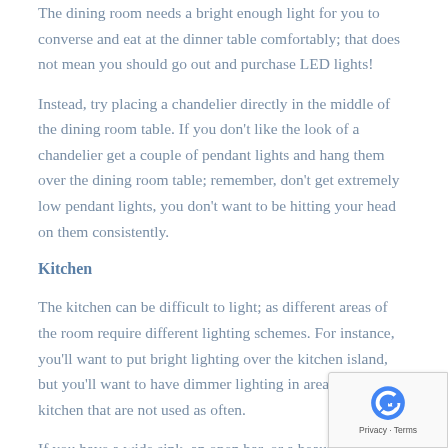The dining room needs a bright enough light for you to converse and eat at the dinner table comfortably; that does not mean you should go out and purchase LED lights!
Instead, try placing a chandelier directly in the middle of the dining room table. If you don't like the look of a chandelier get a couple of pendant lights and hang them over the dining room table; remember, don't get extremely low pendant lights, you don't want to be hitting your head on them consistently.
Kitchen
The kitchen can be difficult to light; as different areas of the room require different lighting schemes. For instance, you'll want to put bright lighting over the kitchen island, but you'll want to have dimmer lighting in areas of the kitchen that are not used as often.
If you have a wide sink, an open bar, or a beautiful kitchen...